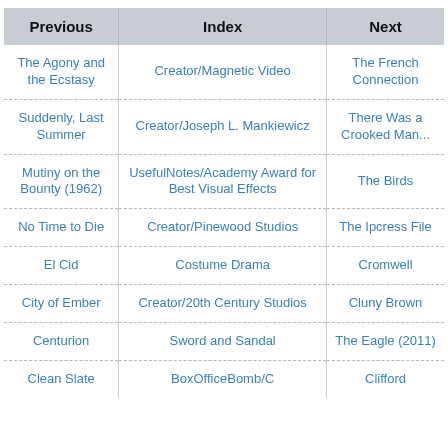| Previous | Index | Next |
| --- | --- | --- |
| The Agony and the Ecstasy | Creator/Magnetic Video | The French Connection |
| Suddenly, Last Summer | Creator/Joseph L. Mankiewicz | There Was a Crooked Man... |
| Mutiny on the Bounty (1962) | UsefulNotes/Academy Award for Best Visual Effects | The Birds |
| No Time to Die | Creator/Pinewood Studios | The Ipcress File |
| El Cid | Costume Drama | Cromwell |
| City of Ember | Creator/20th Century Studios | Cluny Brown |
| Centurion | Sword and Sandal | The Eagle (2011) |
| Clean Slate | BoxOfficeBomb/C | Clifford |